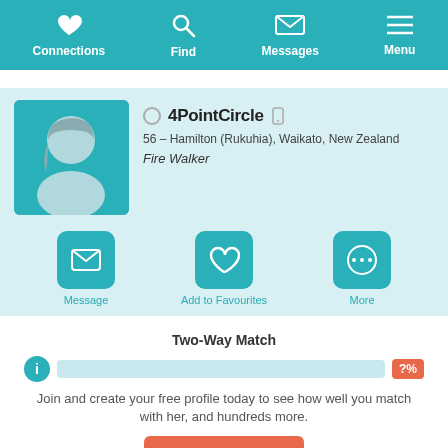Connections | Find | Messages | Menu
[Figure (photo): Female avatar silhouette placeholder image in teal square]
4PointCircle  56 – Hamilton (Rukuhia), Waikato, New Zealand  Fire Walker
Message | Add to Favourites | More
Two-Way Match
Join and create your free profile today to see how well you match with her, and hundreds more.
Join now
Online: More than 6 months ago